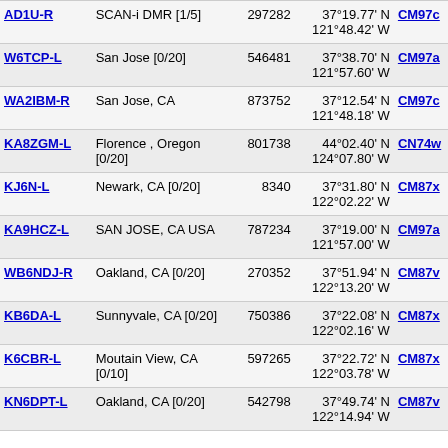| Callsign | Location | Node | Coordinates | Grid |
| --- | --- | --- | --- | --- |
| AD1U-R | SCAN-i DMR [1/5] | 297282 | 37°19.77' N 121°48.42' W | CM97c… |
| W6TCP-L | San Jose [0/20] | 546481 | 37°38.70' N 121°57.60' W | CM97a… |
| WA2IBM-R | San Jose, CA | 873752 | 37°12.54' N 121°48.18' W | CM97c… |
| KA8ZGM-L | Florence , Oregon [0/20] | 801738 | 44°02.40' N 124°07.80' W | CN74w… |
| KJ6N-L | Newark, CA [0/20] | 8340 | 37°31.80' N 122°02.22' W | CM87x… |
| KA9HCZ-L | SAN JOSE, CA USA | 787234 | 37°19.00' N 121°57.00' W | CM97a… |
| WB6NDJ-R | Oakland, CA [0/20] | 270352 | 37°51.94' N 122°13.20' W | CM87v… |
| KB6DA-L | Sunnyvale, CA [0/20] | 750386 | 37°22.08' N 122°02.16' W | CM87x… |
| K6CBR-L | Moutain View, CA [0/10] | 597265 | 37°22.72' N 122°03.78' W | CM87x… |
| KN6DPT-L | Oakland, CA [0/20] | 542798 | 37°49.74' N 122°14.94' W | CM87v… |